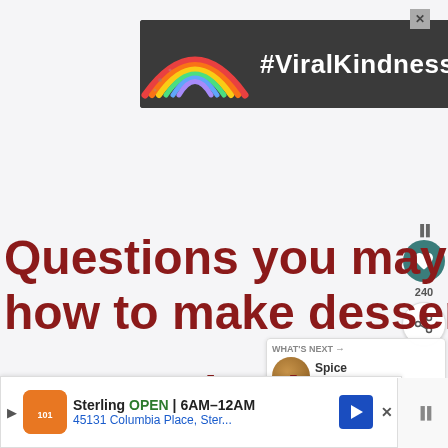[Figure (screenshot): Advertisement banner with dark background showing a chalk rainbow and text #ViralKindness with a close X button]
Questions you may have about how to make dessert pizza:
[Figure (screenshot): What's Next panel showing Spice Cupcakes wi... with a circular food image]
Can I make dessert pizza ahead of time?
[Figure (screenshot): Bottom navigation ad for Sterling restaurant: OPEN 6AM-12AM, 45131 Columbia Place, Ster...]